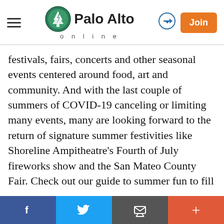Palo Alto online — navigation header with hamburger menu, logo, login arrow, and Join button
festivals, fairs, concerts and other seasonal events centered around food, art and community. And with the last couple of summers of COVID-19 canceling or limiting many events, many are looking forward to the return of signature summer festivities like Shoreline Ampitheatre's Fourth of July fireworks show and the San Mateo County Fair. Check out our guide to summer fun to fill your calendar from June through September.
Music series and festivals: Free concert series are everywhere this time of year. Find everything from tribute bands to reggae at Music on the Square in Redwood City every Friday at 6 p.m. through Sept
Social share bar: Facebook, Twitter, Email, Plus